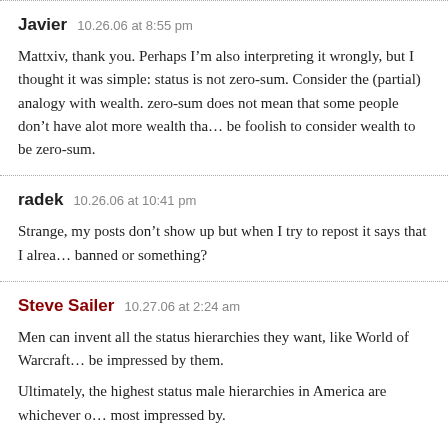Javier   10.26.06 at 8:55 pm
Mattxiv, thank you. Perhaps I’m also interpreting it wrongly, but I thought it was simple: status is not zero-sum. Consider the (partial) analogy with wealth. zero-sum does not mean that some people don’t have alot more wealth than others; be foolish to consider wealth to be zero-sum.
radek   10.26.06 at 10:41 pm
Strange, my posts don’t show up but when I try to repost it says that I already posted. Am I banned or something?
Steve Sailer   10.27.06 at 2:24 am
Men can invent all the status hierarchies they want, like World of Warcraft, but women won’t be impressed by them.
Ultimately, the highest status male hierarchies in America are whichever ones women are most impressed by.